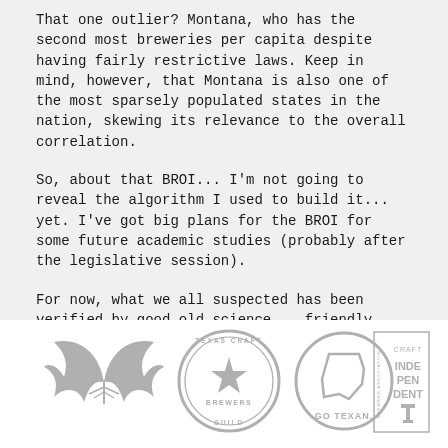That one outlier? Montana, who has the second most breweries per capita despite having fairly restrictive laws. Keep in mind, however, that Montana is also one of the most sparsely populated states in the nation, skewing its relevance to the overall correlation.
So, about that BROI... I'm not going to reveal the algorithm I used to build it... yet. I've got big plans for the BROI for some future academic studies (probably after the legislative session).
For now, what we all suspected has been verified by good old science... friendly craft beer laws leads to more craft breweries.
[Figure (logo): Four logos in a row: a leaf/bat shaped brewery logo, Texas Craft Brewers Guild circular seal, Go Texan circular logo with Texas outline, and Brewers Association Independent Craft logo]